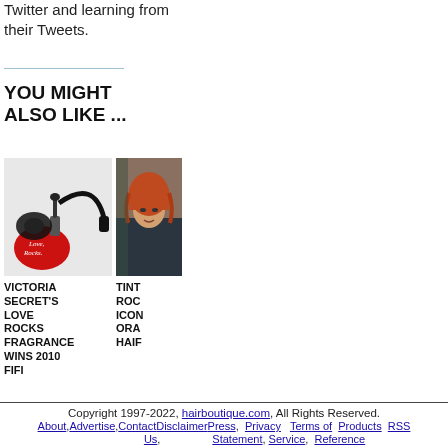Twitter and learning from their Tweets.
YOU MIGHT ALSO LIKE ...
[Figure (photo): Product image of Victoria Secret's Love Rocks fragrance with headphones]
VICTORIA SECRET'S LOVE ROCKS FRAGRANCE WINS 2010 FIFI
[Figure (photo): Person with iconic orange hair]
TINT ROC ICON ORA HAIF
Copyright 1997-2022, hairboutique.com, All Rights Reserved. About, Advertise, Contact Disclaimer Press, Privacy Statement, Terms of Service, Products Reference, RSS Us,